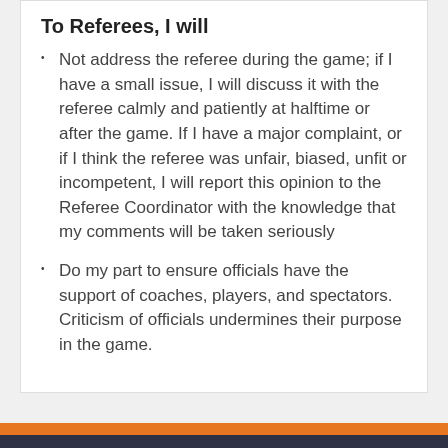To Referees, I will
Not address the referee during the game; if I have a small issue, I will discuss it with the referee calmly and patiently at halftime or after the game. If I have a major complaint, or if I think the referee was unfair, biased, unfit or incompetent, I will report this opinion to the Referee Coordinator with the knowledge that my comments will be taken seriously
Do my part to ensure officials have the support of coaches, players, and spectators. Criticism of officials undermines their purpose in the game.
Site Links
LYSA Rec Soccer Registration
Loveland Storm Academy Registration
Storm FC Information
SAY Youth Soccer